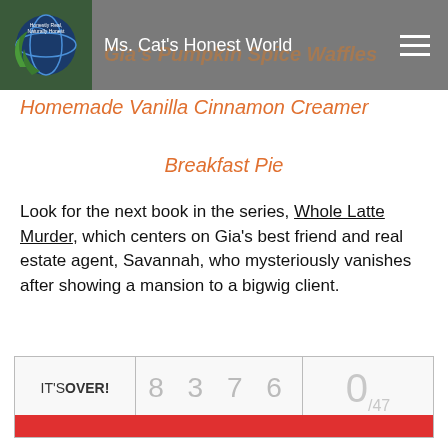Ms. Cat's Honest World | Gia's Pumpkin Spice Waffles
Homemade Vanilla Cinnamon Creamer
Breakfast Pie
Look for the next book in the series, Whole Latte Murder, which centers on Gia's best friend and real estate agent, Savannah, who mysteriously vanishes after showing a mansion to a bigwig client.
| Status | Entries | Ratio |
| --- | --- | --- |
| IT'S OVER! | 8 3 7 6 | 0/47 |
(1) $25 Amazon Gift Card